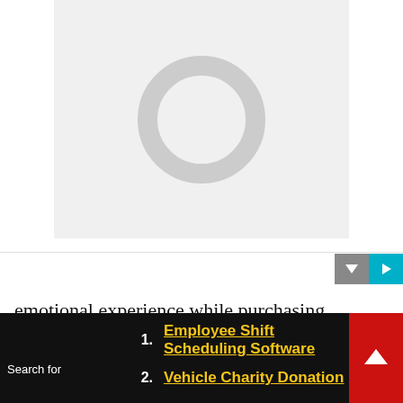[Figure (other): Loading spinner / placeholder image area with a gray circle ring on light gray background]
[Figure (other): Media controls bar with a gray down-arrow button and a cyan play button]
emotional experience while purchasing different products could use the technology of detecting the emotions. This could play a vital role in connecting the brands with their audiences. They could collect the database of the emotions of their customers and could leverage this information to advertise their products efficiently. This would significantly
Search for
1. Employee Shift Scheduling Software
2. Vehicle Charity Donation